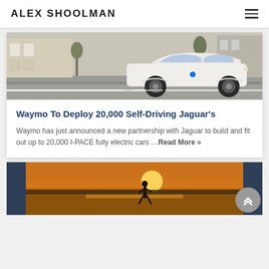ALEX SHOOLMAN
[Figure (photo): White Waymo self-driving Jaguar I-PACE SUV on a city street with cobblestones and buildings in background]
Waymo To Deploy 20,000 Self-Driving Jaguar's
Waymo has just announced a new partnership with Jaguar to build and fit out up to 20,000 I-PACE fully electric cars …Read More »
[Figure (photo): Person silhouetted at sunset on a beach, dark blue panel on the left and right sides of image]